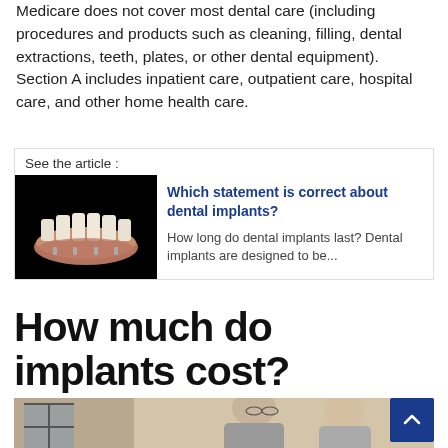Medicare does not cover most dental care (including procedures and products such as cleaning, filling, dental extractions, teeth, plates, or other dental equipment). Section A includes inpatient care, outpatient care, hospital care, and other home health care.
See the article :
[Figure (photo): Photo of dental implants/denture model on black background]
Which statement is correct about dental implants?
How long do dental implants last? Dental implants are designed to be...
How much do implants cost?
[Figure (photo): Photo of an elderly man with grey hair and glasses, appears to be in consultation]